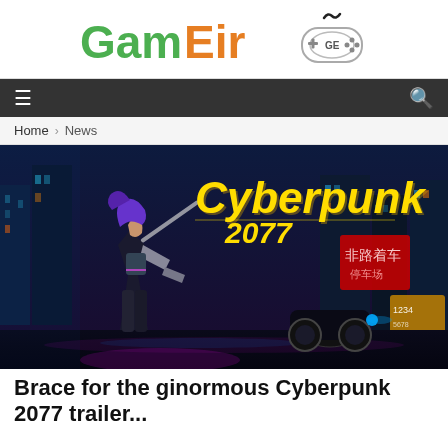[Figure (logo): GamEir logo with green 'Gam' and orange 'Eir' text next to a game controller icon with 'GE' label and squiggly line above]
≡   🔍
Home > News
[Figure (photo): Cyberpunk 2077 promotional artwork featuring a female character with purple hair and cybernetic arm in a neon-lit futuristic city, with a motorcycle in the background and the yellow Cyberpunk 2077 logo]
Brace for the ginormous Cyberpunk 2077 trailer...